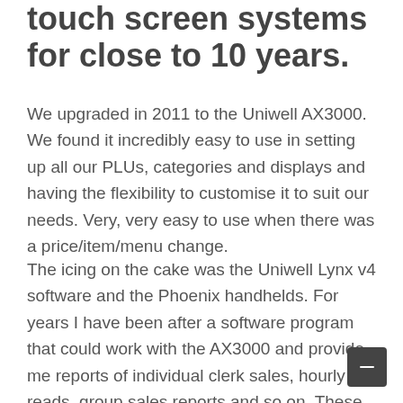touch screen systems for close to 10 years.
We upgraded in 2011 to the Uniwell AX3000. We found it incredibly easy to use in setting up all our PLUs, categories and displays and having the flexibility to customise it to suit our needs. Very, very easy to use when there was a price/item/menu change.
The icing on the cake was the Uniwell Lynx v4 software and the Phoenix handhelds. For years I have been after a software program that could work with the AX3000 and provide me reports of individual clerk sales, hourly reads, group sales reports and so on. These reporting functions complimented the already efficient reports produced directly by the Uniwell terminal. It gave us more control and accountability of